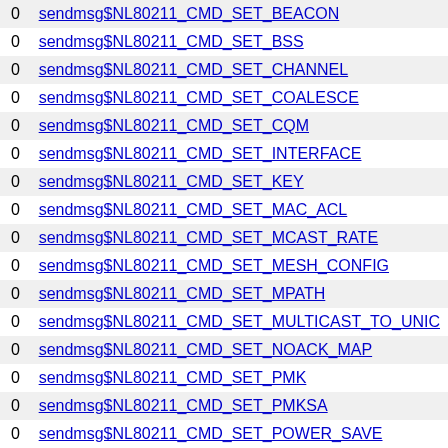|  |  |
| --- | --- |
| 0 | sendmsg$NL80211_CMD_SET_BEACON |
| 0 | sendmsg$NL80211_CMD_SET_BSS |
| 0 | sendmsg$NL80211_CMD_SET_CHANNEL |
| 0 | sendmsg$NL80211_CMD_SET_COALESCE |
| 0 | sendmsg$NL80211_CMD_SET_CQM |
| 0 | sendmsg$NL80211_CMD_SET_INTERFACE |
| 0 | sendmsg$NL80211_CMD_SET_KEY |
| 0 | sendmsg$NL80211_CMD_SET_MAC_ACL |
| 0 | sendmsg$NL80211_CMD_SET_MCAST_RATE |
| 0 | sendmsg$NL80211_CMD_SET_MESH_CONFIG |
| 0 | sendmsg$NL80211_CMD_SET_MPATH |
| 0 | sendmsg$NL80211_CMD_SET_MULTICAST_TO_UNIC |
| 0 | sendmsg$NL80211_CMD_SET_NOACK_MAP |
| 0 | sendmsg$NL80211_CMD_SET_PMK |
| 0 | sendmsg$NL80211_CMD_SET_PMKSA |
| 0 | sendmsg$NL80211_CMD_SET_POWER_SAVE |
| 0 | sendmsg$NL80211_CMD_SET_QOS_MAP |
| 0 | sendmsg$NL80211_CMD_SET_REG |
| 0 | sendmsg$NL80211_CMD_SET_REKEY_OFFLOAD |
| 0 | sendmsg$NL80211_CMD_SET_STATION |
| 0 | sendmsg$NL80211_CMD_SET_TID_CONFIG |